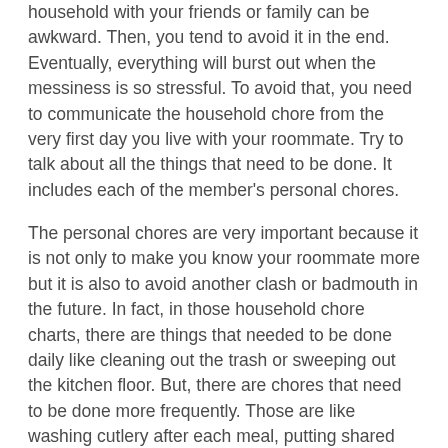household with your friends or family can be awkward. Then, you tend to avoid it in the end. Eventually, everything will burst out when the messiness is so stressful. To avoid that, you need to communicate the household chore from the very first day you live with your roommate. Try to talk about all the things that need to be done. It includes each of the member's personal chores.
The personal chores are very important because it is not only to make you know your roommate more but it is also to avoid another clash or badmouth in the future. In fact, in those household chore charts, there are things that needed to be done daily like cleaning out the trash or sweeping out the kitchen floor. But, there are chores that need to be done more frequently. Those are like washing cutlery after each meal, putting shared items in the places, or cleaning some personal messes like food scraps or hair in the bathroom. Preparing meals is also considered as daily personal chores that need to be communicated.